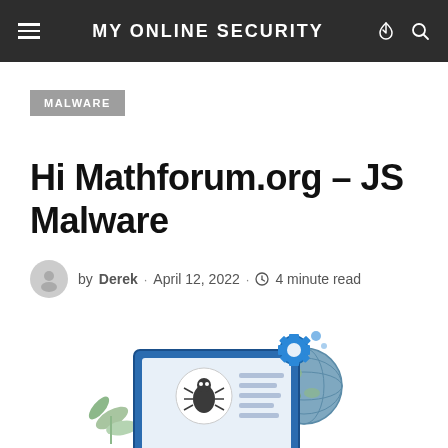MY ONLINE SECURITY
MALWARE
Hi Mathforum.org – JS Malware
by Derek · April 12, 2022 · 4 minute read
[Figure (illustration): Illustration of a computer monitor with a bug/malware icon, gears, globe, and decorative plants — cybersecurity themed graphic]